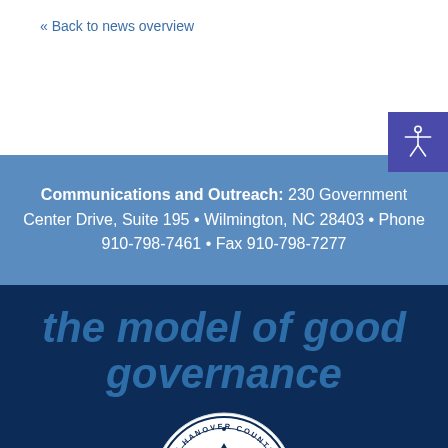« Back to news overview
Communications and Outreach: 230 Government Center Drive, Suite 195 • Wilmington, NC 28403 • Phone 910-798-7461 • Fax 910-798-7277
the model of good governance
[Figure (logo): New Hanover County North Carolina seal, established 1722, showing a clock tower building in circular white seal on dark blue background]